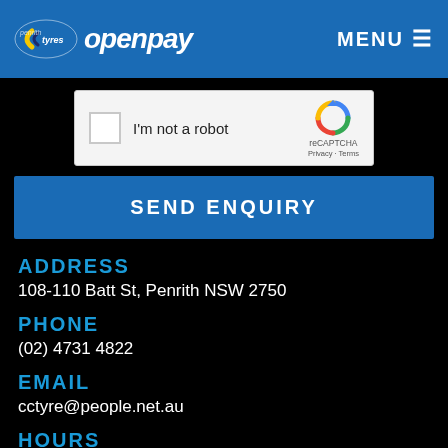CC Tyres openpay MENU
[Figure (screenshot): reCAPTCHA widget with checkbox and 'I'm not a robot' label]
SEND ENQUIRY
ADDRESS
108-110 Batt St, Penrith NSW 2750
PHONE
(02) 4731 4822
EMAIL
cctyre@people.net.au
HOURS